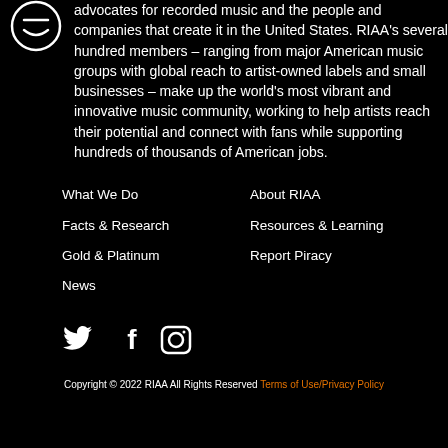[Figure (logo): RIAA circular logo icon (smiley/music symbol in white circle outline)]
advocates for recorded music and the people and companies that create it in the United States. RIAA's several hundred members – ranging from major American music groups with global reach to artist-owned labels and small businesses – make up the world's most vibrant and innovative music community, working to help artists reach their potential and connect with fans while supporting hundreds of thousands of American jobs.
What We Do
About RIAA
Facts & Research
Resources & Learning
Gold & Platinum
Report Piracy
News
[Figure (illustration): Social media icons: Twitter bird, Facebook f, Instagram camera]
Copyright © 2022 RIAA All Rights Reserved Terms of Use/Privacy Policy